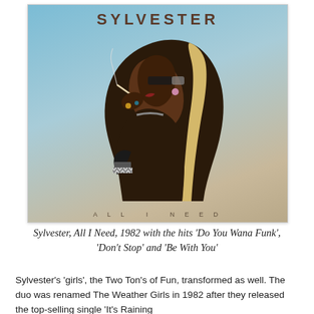[Figure (illustration): Album cover of Sylvester 'All I Need' (1982). Shows a stylized illustration of a glamorous figure in profile, with dramatic hair, holding a cigarette. The text 'SYLVESTER' appears at the top and 'ALL I NEED' at the bottom.]
Sylvester, All I Need, 1982 with the hits 'Do You Wana Funk', 'Don't Stop' and 'Be With You'
Sylvester's 'girls', the Two Ton's of Fun, transformed as well. The duo was renamed The Weather Girls in 1982 after they released the top-selling single 'It's Raining